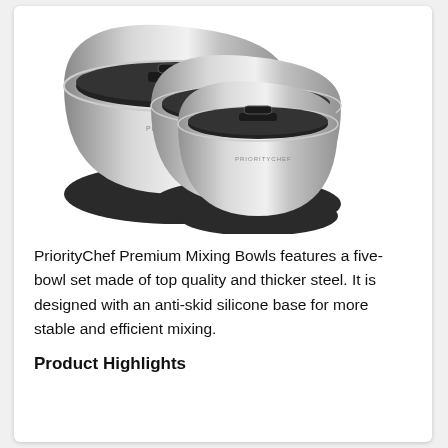[Figure (photo): Three stainless steel mixing bowls with black silicone bases and black lids, nested together in decreasing size. Each bowl has 'PRIORITYCHEF' branding etched on the front. The bowls are shown on a white background.]
PriorityChef Premium Mixing Bowls features a five-bowl set made of top quality and thicker steel. It is designed with an anti-skid silicone base for more stable and efficient mixing.
Product Highlights